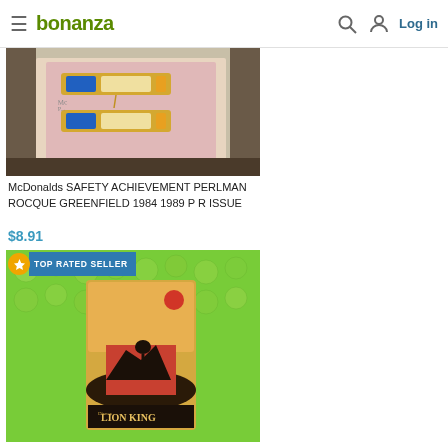bonanza  Log in
[Figure (photo): Photo of McDonalds safety achievement pins/medals on a pink background — gold colored bar pins with blue and orange accents]
McDonalds SAFETY ACHIEVEMENT PERLMAN ROCQUE GREENFIELD 1984 1989 P R ISSUE
$8.91
[Figure (photo): Photo showing a Lion King collectible item inside green bubble wrap packaging, with TOP RATED SELLER badge overlay]